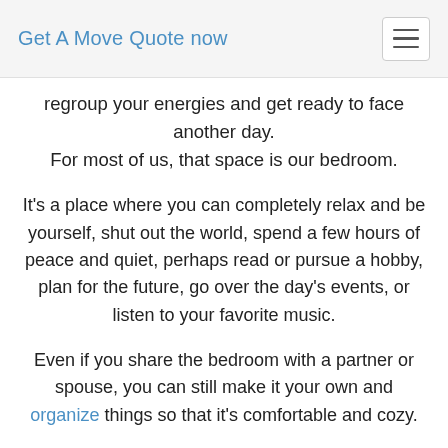You could be the most extreme extrovert in your family of
Get A Move Quote now
regroup your energies and get ready to face another day. For most of us, that space is our bedroom.
It’s a place where you can completely relax and be yourself, shut out the world, spend a few hours of peace and quiet, perhaps read or pursue a hobby, plan for the future, go over the day’s events, or listen to your favorite music.
Even if you share the bedroom with a partner or spouse, you can still make it your own and organize things so that it’s comfortable and cozy.
And most importantly, the bedroom is your designated sleeping place.
Humans spend one third of their lives sleeping. In a lifetime, the average person spends more than 200,000 hours sleeping. This is the time to recover from a day’s